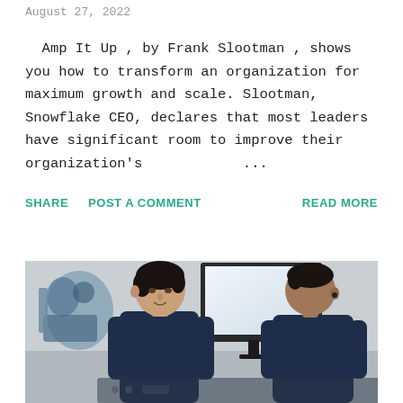August 27, 2022
Amp It Up , by Frank Slootman , shows you how to transform an organization for maximum growth and scale. Slootman, Snowflake CEO, declares that most leaders have significant room to improve their organization's ...
SHARE
POST A COMMENT
READ MORE
[Figure (photo): Two men in dark navy uniforms/lab coats facing each other in a technical/industrial lab setting. A monitor/screen is visible in the background. The man on the left has dark hair and appears to be speaking; the man on the right is seen from behind/side with short hair.]